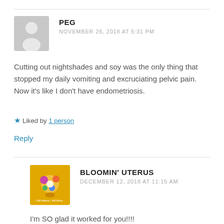PEG
NOVEMBER 26, 2018 AT 5:31 PM
Cutting out nightshades and soy was the only thing that stopped my daily vomiting and excruciating pelvic pain. Now it's like I don't have endometriosis.
★ Liked by 1 person
Reply
BLOOMIN' UTERUS
DECEMBER 12, 2018 AT 11:15 AM
I'm SO glad it worked for you!!!!